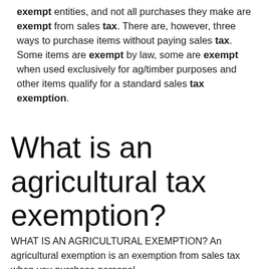exempt entities, and not all purchases they make are exempt from sales tax. There are, however, three ways to purchase items without paying sales tax. Some items are exempt by law, some are exempt when used exclusively for ag/timber purposes and other items qualify for a standard sales tax exemption.
What is an agricultural tax exemption?
WHAT IS AN AGRICULTURAL EXEMPTION? An agricultural exemption is an exemption from sales tax when you purchase personal